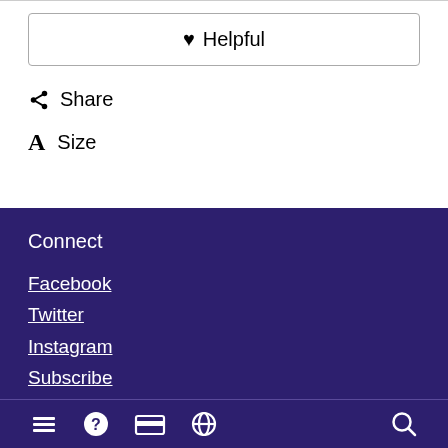♥ Helpful
⤲ Share
A Size
Connect
Facebook
Twitter
Instagram
Subscribe
Contact
Navigation icons: menu, help, credit card, globe, search